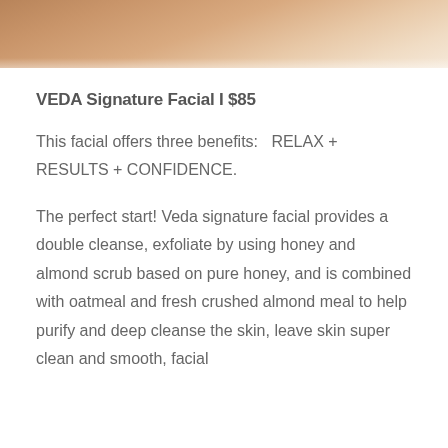[Figure (photo): Partial image of a person's skin/body with warm skin tones, cropped at the bottom of the frame]
VEDA Signature Facial I $85
This facial offers three benefits:   RELAX + RESULTS + CONFIDENCE.
The perfect start! Veda signature facial provides a double cleanse, exfoliate by using honey and almond scrub based on pure honey, and is combined with oatmeal and fresh crushed almond meal to help purify and deep cleanse the skin, leave skin super clean and smooth, facial